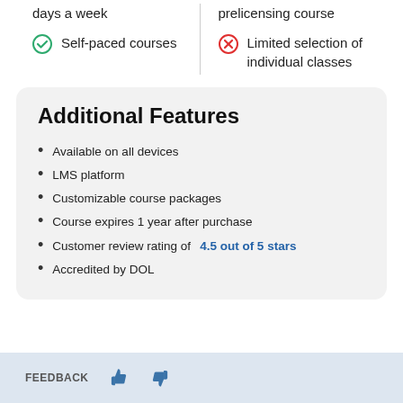days a week
prelicensing course
Self-paced courses
Limited selection of individual classes
Additional Features
Available on all devices
LMS platform
Customizable course packages
Course expires 1 year after purchase
Customer review rating of 4.5 out of 5 stars
Accredited by DOL
FEEDBACK